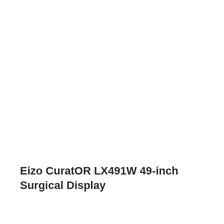Eizo CuratOR LX491W 49-inch Surgical Display